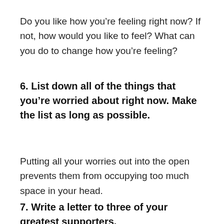Do you like how you’re feeling right now? If not, how would you like to feel? What can you do to change how you’re feeling?
6. List down all of the things that you’re worried about right now. Make the list as long as possible.
Putting all your worries out into the open prevents them from occupying too much space in your head.
7. Write a letter to three of your greatest supporters.